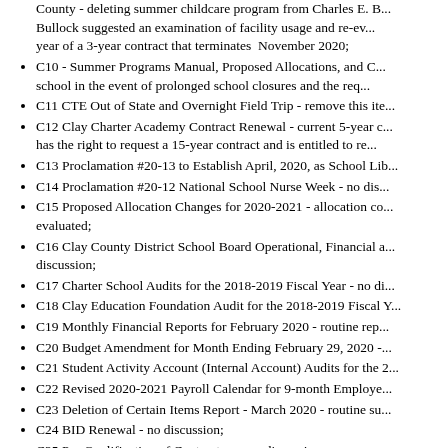Amendment Number Two to Contract Between - Brighton County - deleting summer childcare program from Charles E. B... Bullock suggested an examination of facility usage and re-ev... year of a 3-year contract that terminates November 2020;
C10 - Summer Programs Manual, Proposed Allocations, and C... school in the event of prolonged school closures and the req...
C11 CTE Out of State and Overnight Field Trip - remove this ite...
C12 Clay Charter Academy Contract Renewal - current 5-year c... has the right to request a 15-year contract and is entitled to re...
C13 Proclamation #20-13 to Establish April, 2020, as School Lib...
C14 Proclamation #20-12 National School Nurse Week - no dis...
C15 Proposed Allocation Changes for 2020-2021 - allocation co... evaluated;
C16 Clay County District School Board Operational, Financial a... discussion;
C17 Charter School Audits for the 2018-2019 Fiscal Year - no di...
C18 Clay Education Foundation Audit for the 2018-2019 Fiscal Y...
C19 Monthly Financial Reports for February 2020 - routine rep...
C20 Budget Amendment for Month Ending February 29, 2020 -...
C21 Student Activity Account (Internal Account) Audits for the 2...
C22 Revised 2020-2021 Payroll Calendar for 9-month Employe...
C23 Deletion of Certain Items Report - March 2020 - routine su...
C24 BID Renewal - no discussion;
C25 Pre-Qualification of Contractors - no discussion;
C26 Change Order #1 for Keystone Heights High School Site In...
C27 Schematic/Preliminary/Final (Phase I, II, and III) Plans and...